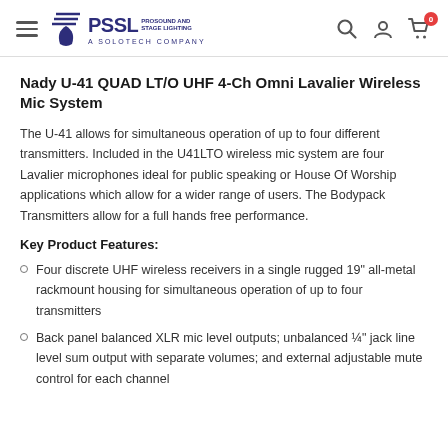PSSL PRO SOUND AND STAGE LIGHTING — A SOLOTECH COMPANY
Nady U-41 QUAD LT/O UHF 4-Ch Omni Lavalier Wireless Mic System
The U-41 allows for simultaneous operation of up to four different transmitters. Included in the U41LTO wireless mic system are four Lavalier microphones ideal for public speaking or House Of Worship applications which allow for a wider range of users. The Bodypack Transmitters allow for a full hands free performance.
Key Product Features:
Four discrete UHF wireless receivers in a single rugged 19" all-metal rackmount housing for simultaneous operation of up to four transmitters
Back panel balanced XLR mic level outputs; unbalanced ¼" jack line level sum output with separate volumes; and external adjustable mute control for each channel